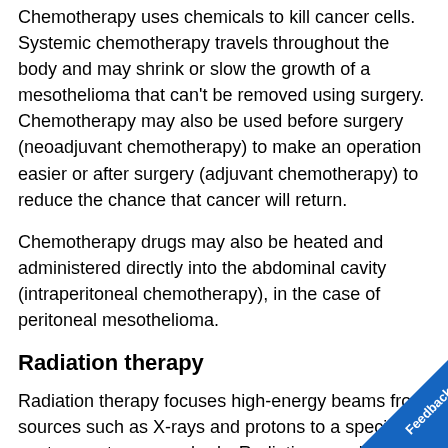Chemotherapy uses chemicals to kill cancer cells. Systemic chemotherapy travels throughout the body and may shrink or slow the growth of a mesothelioma that can't be removed using surgery. Chemotherapy may also be used before surgery (neoadjuvant chemotherapy) to make an operation easier or after surgery (adjuvant chemotherapy) to reduce the chance that cancer will return.
Chemotherapy drugs may also be heated and administered directly into the abdominal cavity (intraperitoneal chemotherapy), in the case of peritoneal mesothelioma.
Radiation therapy
Radiation therapy focuses high-energy beams from sources such as X-rays and protons to a specific spot or spots on your body. Radiation may be used after surgery to kill any remaining cancer cells. It may also help reduce signs and symptoms of advanced cancer in situations where surgery isn't an option.
Other treatments
In certain situations, other treatments might be used